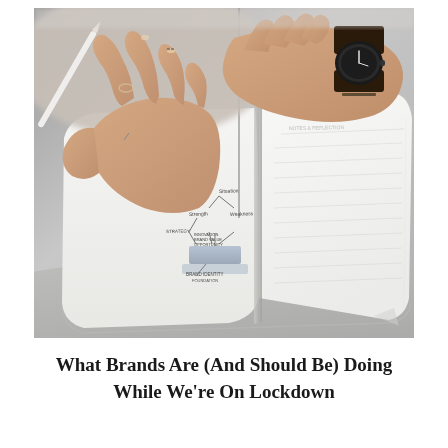[Figure (photo): Close-up photograph of a person's hands writing in an open notebook/journal with a white pen or pencil. The person is wearing a watch on their left wrist. The open notebook shows a hand-drawn flowchart or diagram on the left page, and lined blank pages on the right. The background is grey/blurred.]
What Brands Are (And Should Be) Doing While We're On Lockdown